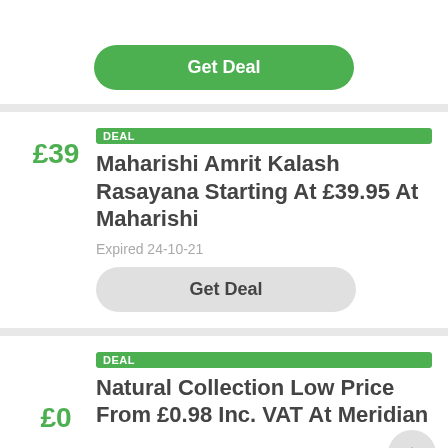[Figure (screenshot): Green Get Deal button at top of page (partial card)]
DEAL
Maharishi Amrit Kalash Rasayana Starting At £39.95 At Maharishi
Expired 24-10-21
Get Deal
DEAL
Natural Collection Low Price From £0.98 Inc. VAT At Meridian